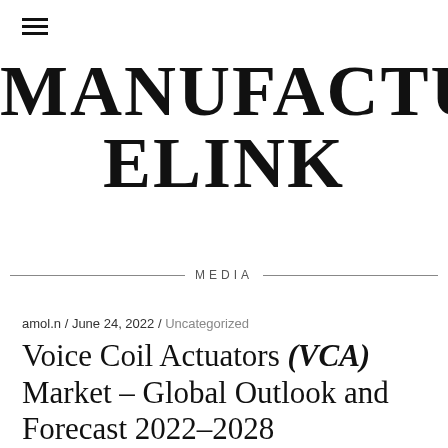≡
MANUFACTUR ELINK MEDIA
amol.n / June 24, 2022 / Uncategorized
Voice Coil Actuators (VCA) Market – Global Outlook and Forecast 2022–2028